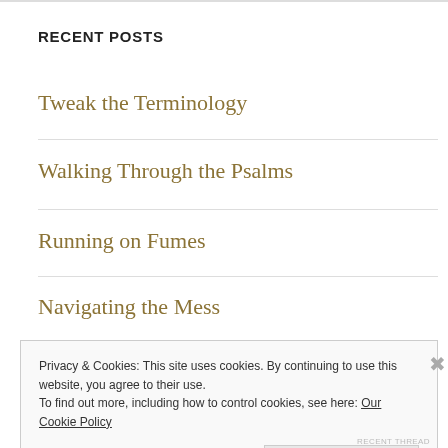RECENT POSTS
Tweak the Terminology
Walking Through the Psalms
Running on Fumes
Navigating the Mess
Privacy & Cookies: This site uses cookies. By continuing to use this website, you agree to their use.
To find out more, including how to control cookies, see here: Our Cookie Policy
Close and accept